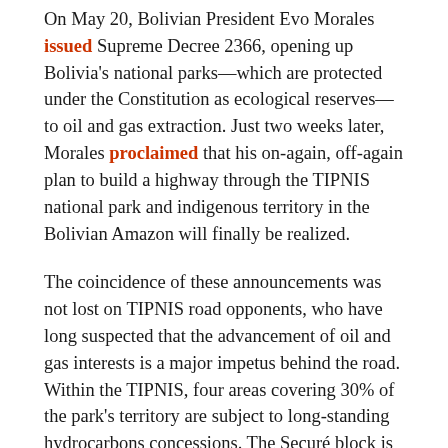On May 20, Bolivian President Evo Morales issued Supreme Decree 2366, opening up Bolivia's national parks—which are protected under the Constitution as ecological reserves—to oil and gas extraction. Just two weeks later, Morales proclaimed that his on-again, off-again plan to build a highway through the TIPNIS national park and indigenous territory in the Bolivian Amazon will finally be realized.
The coincidence of these announcements was not lost on TIPNIS road opponents, who have long suspected that the advancement of oil and gas interests is a major impetus behind the road. Within the TIPNIS, four areas covering 30% of the park's territory are subject to long-standing hydrocarbons concessions. The Securé block is virtually adjacent to the proposed road.
In fact, 11 of Bolivia's 22 national park reserves are overlapped by existing gas and oil concessions to companies like...